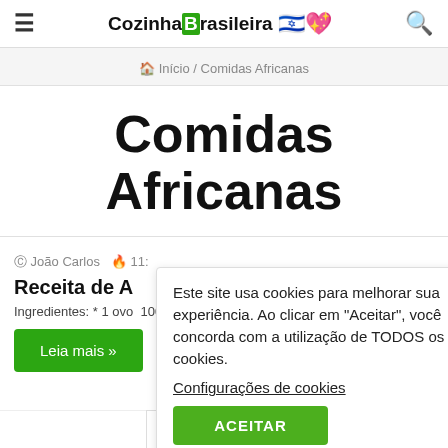Cozinha Brasileira
Início / Comidas Africanas
Comidas Africanas
João Carlos  11:
Receita de A
Ingredientes: * 1 ovo  100 grs…
Leia mais »
Este site usa cookies para melhorar sua experiência. Ao clicar em "Aceitar", você concorda com a utilização de TODOS os cookies.
Configurações de cookies
ACEITAR
« 1 2